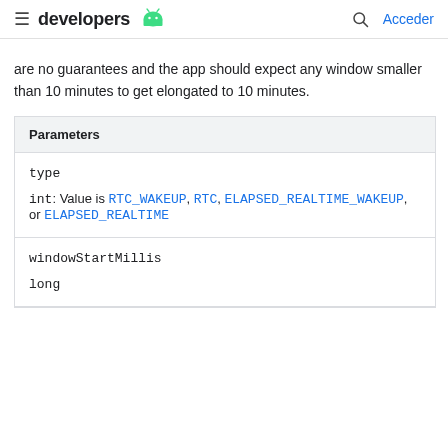developers  [Android logo]  [Search]  Acceder
are no guarantees and the app should expect any window smaller than 10 minutes to get elongated to 10 minutes.
| Parameters |
| --- |
| type |  |
| int: Value is RTC_WAKEUP, RTC, ELAPSED_REALTIME_WAKEUP, or ELAPSED_REALTIME |  |
| windowStartMillis |  |
| long |  |